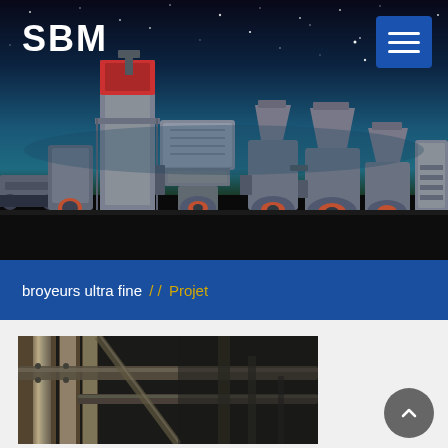[Figure (photo): SBM logo on dark starry sky hero banner with industrial mining/crushing machinery equipment lineup in foreground, photorealistic render against night sky background]
SBM
broyeurs ultra fine / / Projet
[Figure (photo): Close-up photo of industrial machinery showing metal ducts, pipes, and structural components in a factory or plant setting, dark metallic tones]